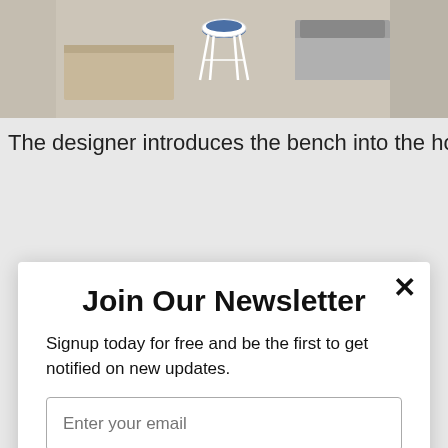[Figure (photo): Partial view of a bedroom/interior design photo showing a white chair with blue seat cushion and a bed with gray bedding on a light wood floor]
The designer introduces the bench into the house. The bench
Join Our Newsletter
Signup today for free and be the first to get notified on new updates.
Enter your email
I agree to the Terms & Conditions and Privacy Policy.
Subscribe
powered by MailMunch